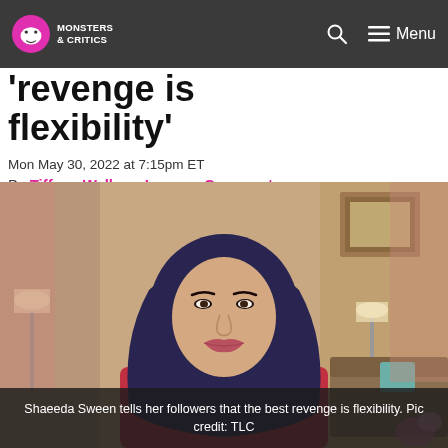Monsters & Critics — Navigation bar with search and menu
'revenge is flexibility'
Mon May 30, 2022 at 7:15pm ET
By Tiffany Walker - Leave a Comment
[Figure (photo): Shaeeda Sween, a woman wearing a dark navy hijab and red top, seated in an interview setting with a lamp and painting visible in the background.]
Shaeeda Sween tells her followers that the best revenge is flexibility. Pic credit: TLC